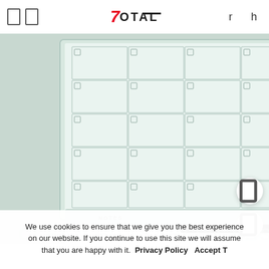[Figure (logo): 7Total logo with red stylized 7 and black OTAL text]
[Figure (photo): Glass whiteboard calendar with grid of monthly date squares, a marker tray with NOTES label and a Quartet marker pen in front]
We use cookies to ensure that we give you the best experience on our website. If you continue to use this site we will assume that you are happy with it. Privacy Policy Accept